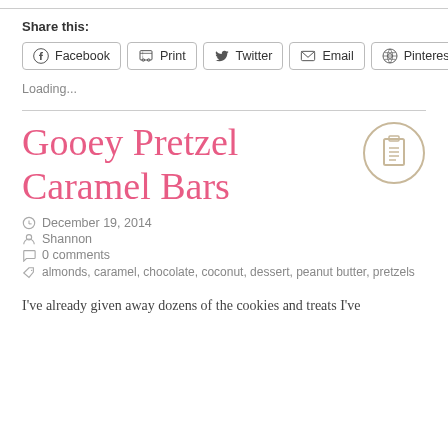Share this:
Facebook | Print | Twitter | Email | Pinterest
Loading...
Gooey Pretzel Caramel Bars
December 19, 2014
Shannon
0 comments
almonds, caramel, chocolate, coconut, dessert, peanut butter, pretzels
I've already given away dozens of the cookies and treats I've